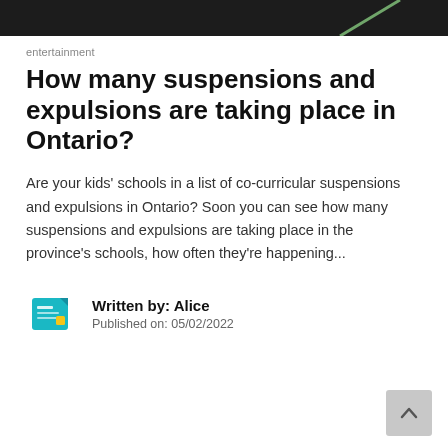[Figure (photo): Dark/black background photo strip at top of page, partial view with a green diagonal line or stripe visible on the right side.]
entertainment
How many suspensions and expulsions are taking place in Ontario?
Are your kids' schools in a list of co-curricular suspensions and expulsions in Ontario? Soon you can see how many suspensions and expulsions are taking place in the province's schools, how often they're happening...
[Figure (illustration): News icon: teal/cyan colored newspaper icon with a yellow square accent]
Written by: Alice
Published on: 05/02/2022